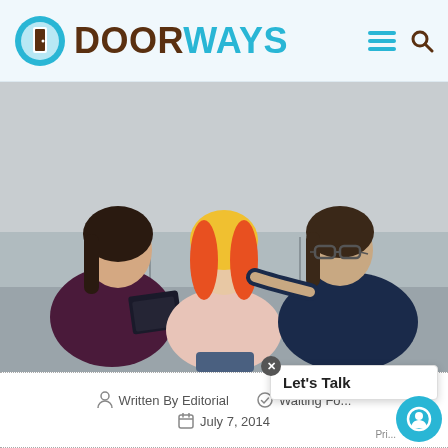[Figure (logo): Doorways logo with teal/brown door icon and DOORWAYS text, plus hamburger menu and search icons]
[Figure (photo): Three women sitting on a gray couch: a dark-haired counselor with a notebook on the left speaking, a young woman with yellow-and-orange hair in the center looking down, and a woman with glasses in dark blue cardigan on the right with hand on center woman's shoulder]
Written By Editorial
Waiting Fo...
July 7, 2014
Let's Talk